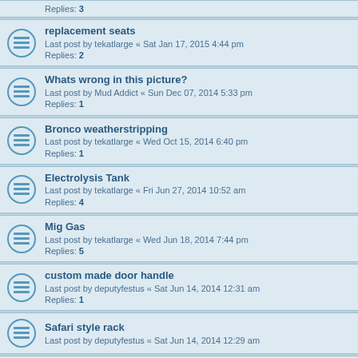Replies: 3
replacement seats
Last post by tekatlarge « Sat Jan 17, 2015 4:44 pm
Replies: 2
Whats wrong in this picture?
Last post by Mud Addict « Sun Dec 07, 2014 5:33 pm
Replies: 1
Bronco weatherstripping
Last post by tekatlarge « Wed Oct 15, 2014 6:40 pm
Replies: 1
Electrolysis Tank
Last post by tekatlarge « Fri Jun 27, 2014 10:52 am
Replies: 4
Mig Gas
Last post by tekatlarge « Wed Jun 18, 2014 7:44 pm
Replies: 5
custom made door handle
Last post by deputyfestus « Sat Jun 14, 2014 12:31 am
Replies: 1
Safari style rack
Last post by deputyfestus « Sat Jun 14, 2014 12:29 am
Custom radius/drop bracket project
Last post by 101btp « Tue Feb 25, 2014 7:30 am
Replies: 3
Looking for a quality lift kit
Last post by 101btp « Mon Feb 24, 2014 5:59 pm
Replies: 4